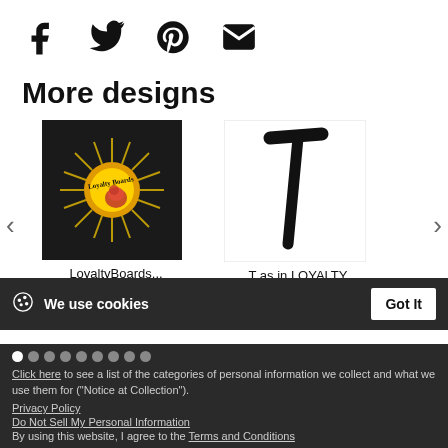[Figure (infographic): Social share icons: Facebook (f), Twitter (bird), Pinterest (P), Email (envelope)]
More designs
[Figure (photo): LoyaltyBoards logo: sun with orange/yellow rays and a rose, with cursive text 'Loyalty Boards']
LoyaltyBoards...
10000
[Figure (illustration): Stylized letter T in black brush/marker style on white background]
T as in LOYALTY
shirt
We use cookies
Click here to see a list of the categories of personal information we collect and what we use them for ("Notice at Collection").
Privacy Policy
Do Not Sell My Personal Information
By using this website, I agree to the Terms and Conditions